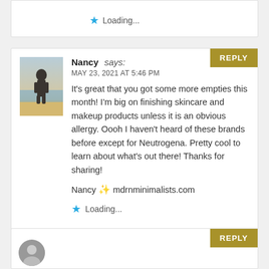Loading...
Nancy says: MAY 23, 2021 AT 5:46 PM It's great that you got some more empties this month! I'm big on finishing skincare and makeup products unless it is an obvious allergy. Oooh I haven't heard of these brands before except for Neutrogena. Pretty cool to learn about what's out there! Thanks for sharing! Nancy ✨ mdrnminimalists.com Loading...
REPLY
REPLY